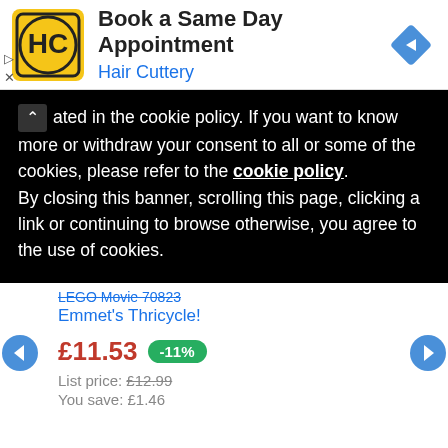[Figure (screenshot): Hair Cuttery ad banner with yellow logo showing HC initials, text 'Book a Same Day Appointment' and 'Hair Cuttery', and a blue diamond navigation icon]
ated in the cookie policy. If you want to know more or withdraw your consent to all or some of the cookies, please refer to the cookie policy. By closing this banner, scrolling this page, clicking a link or continuing to browse otherwise, you agree to the use of cookies.
LEGO Movie 70823
Emmet's Thricycle!
£11.53 -11%
List price: £12.99
You save: £1.46